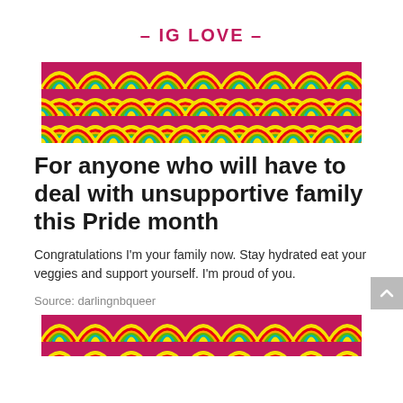– IG LOVE –
[Figure (illustration): Rainbow pattern banner — repeating colorful rainbow arch scales in yellow, red, green, teal on a dark pink/crimson background]
For anyone who will have to deal with unsupportive family this Pride month
Congratulations I'm your family now. Stay hydrated eat your veggies and support yourself. I'm proud of you.
Source: darlingnbqueer
[Figure (illustration): Rainbow pattern banner (bottom, partial) — same repeating colorful rainbow arch scales pattern as top banner]